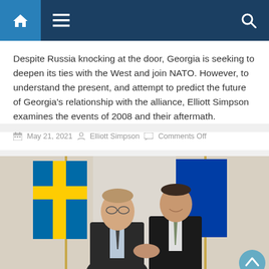Navigation bar with home, menu, and search icons
Despite Russia knocking at the door, Georgia is seeking to deepen its ties with the West and join NATO. However, to understand the present, and attempt to predict the future of Georgia’s relationship with the alliance, Elliott Simpson examines the events of 2008 and their aftermath.
May 21, 2021  Elliott Simpson  Comments Off
[Figure (photo): Two men in suits shaking hands in front of flags (Swedish flag with blue and yellow, and a blue flag), in a formal indoor setting.]